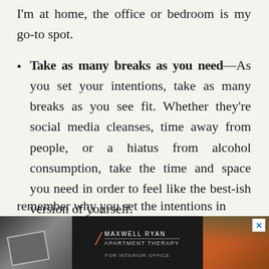I'm at home, the office or bedroom is my go-to spot.
Take as many breaks as you need—As you set your intentions, take as many breaks as you see fit. Whether they're social media cleanses, time away from people, or a hiatus from alcohol consumption, take the time and space you need in order to feel like the best-ish version of yourself.
Remember your intentions—It's easy to get lost in the muck and the mire. But remember why you set the intentions in the...
[Figure (other): Advertisement banner for Maxwell Ryan / Apartment Therapy with interior design imagery]